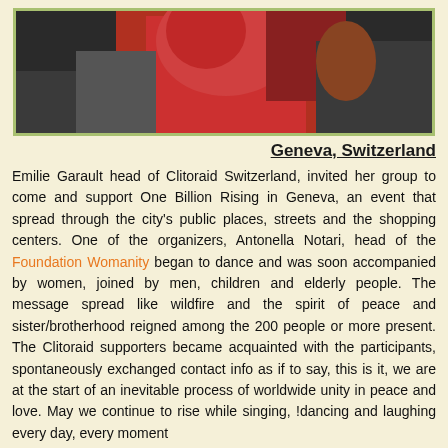[Figure (photo): Photo showing people in red clothing, appears to be a group event or dance gathering]
Geneva, Switzerland
Emilie Garault head of Clitoraid Switzerland, invited her group to come and support One Billion Rising in Geneva, an event that spread through the city's public places, streets and the shopping centers. One of the organizers, Antonella Notari, head of the Foundation Womanity began to dance and was soon accompanied by women, joined by men, children and elderly people. The message spread like wildfire and the spirit of peace and sister/brotherhood reigned among the 200 people or more present. The Clitoraid supporters became acquainted with the participants, spontaneously exchanged contact info as if to say, this is it, we are at the start of an inevitable process of worldwide unity in peace and love. May we continue to rise while singing, dancing and laughing every day, every moment!
[Figure (other): Twitter share button with Urdu text]